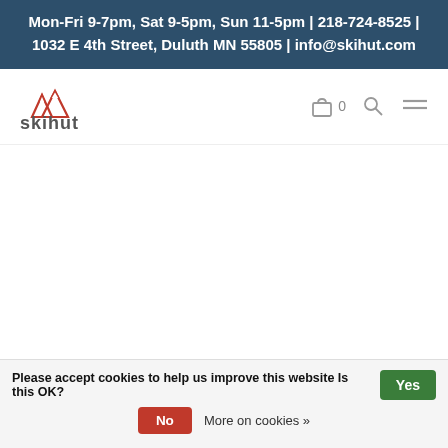Mon-Fri 9-7pm, Sat 9-5pm, Sun 11-5pm | 218-724-8525 | 1032 E 4th Street, Duluth MN 55805 | info@skihut.com
[Figure (logo): Ski Hut logo with mountain graphic and 'skihut' text]
Please accept cookies to help us improve this website Is this OK? Yes No More on cookies »